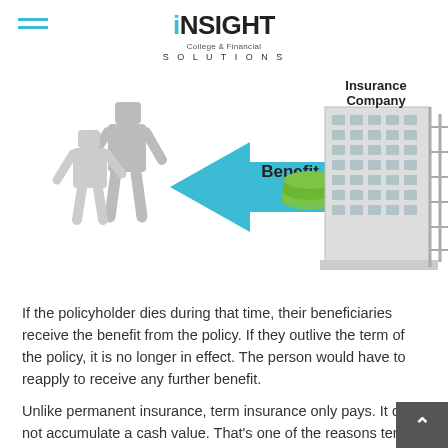INSIGHT College & Financial SOLUTIONS
[Figure (infographic): Infographic showing benefit flow from Insurance Company to policyholder/family. Two 3D figures on the left, a large building labeled 'Insurance Company' on the right, a blue arrow pointing left labeled 'Benefit' with green money icons.]
If the policyholder dies during that time, their beneficiaries receive the benefit from the policy. If they outlive the term of the policy, it is no longer in effect. The person would have to reapply to receive any further benefit.
Unlike permanent insurance, term insurance only pays. It does not accumulate a cash value. That's one of the reasons term insurance tends to be less expensive than